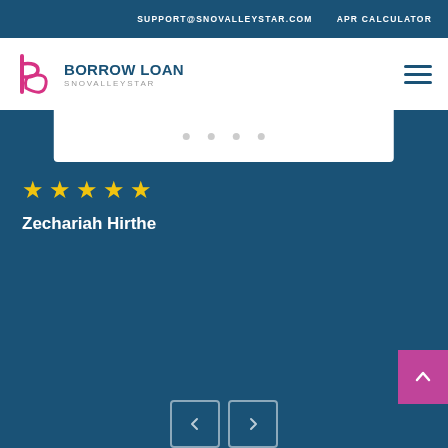SUPPORT@SNOVALLEYSTAR.COM   APR CALCULATOR
[Figure (logo): Borrow Loan Snovalleystar logo with stylized letter B and circular swirl in pink/magenta]
BORROW LOAN SNOVALLEYSTAR
★★★★★
Zechariah Hirthe